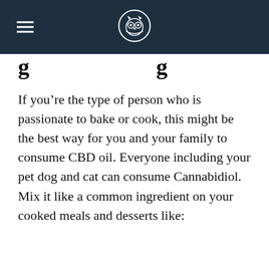g … g
If you’re the type of person who is passionate to bake or cook, this might be the best way for you and your family to consume CBD oil. Everyone including your pet dog and cat can consume Cannabidiol. Mix it like a common ingredient on your cooked meals and desserts like: